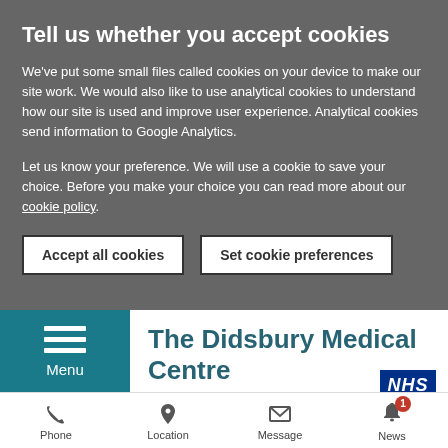Tell us whether you accept cookies
We've put some small files called cookies on your device to make our site work. We would also like to use analytical cookies to understand how our site is used and improve user experience. Analytical cookies send information to Google Analytics.
Let us know your preference. We will use a cookie to save your choice. Before you make your choice you can read more about our cookie policy.
Accept all cookies | Set cookie preferences
The Didsbury Medical Centre
Wilmslow Road
Phone   Location   Message   News